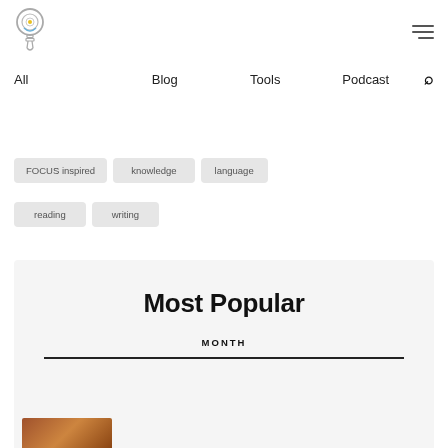Logo and navigation header
All
Blog
Tools
Podcast
FOCUS inspired
knowledge
language
reading
writing
Most Popular
MONTH